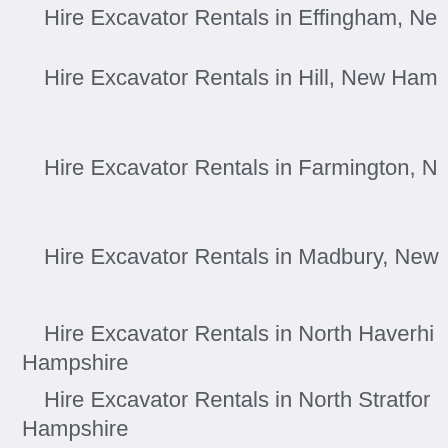Hire Excavator Rentals in Effingham, Ne…
Hire Excavator Rentals in Hill, New Ham…
Hire Excavator Rentals in Farmington, N…
Hire Excavator Rentals in Madbury, New…
Hire Excavator Rentals in North Haverhi… Hampshire
Hire Excavator Rentals in North Stratfor… Hampshire